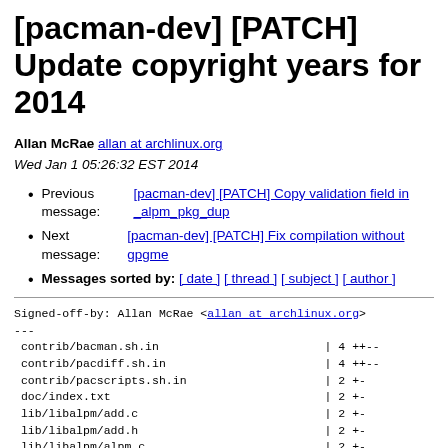[pacman-dev] [PATCH] Update copyright years for 2014
Allan McRae allan at archlinux.org
Wed Jan 1 05:26:32 EST 2014
Previous message: [pacman-dev] [PATCH] Copy validation field in _alpm_pkg_dup
Next message: [pacman-dev] [PATCH] Fix compilation without gpgme
Messages sorted by: [ date ] [ thread ] [ subject ] [ author ]
Signed-off-by: Allan McRae <allan at archlinux.org>
---
 contrib/bacman.sh.in                        | 4 ++--
 contrib/pacdiff.sh.in                       | 4 ++--
 contrib/pacscripts.sh.in                    | 2 +-
 doc/index.txt                               | 2 +-
 lib/libalpm/add.c                           | 2 +-
 lib/libalpm/add.h                           | 2 +-
 lib/libalpm/alpm.c                          | 2 +-